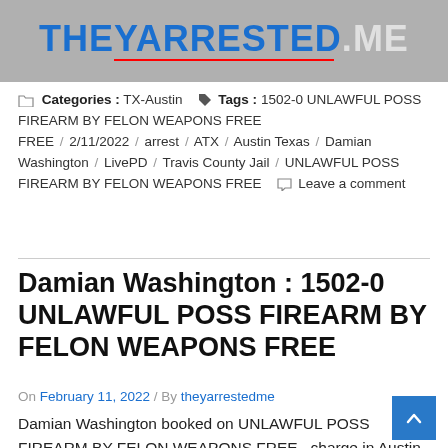[Figure (photo): Header image showing website logo 'THEYARRESTED.ME' in blue letters with red underline on a gray background with partial face visible]
Categories : TX-Austin   Tags : 1502-0 UNLAWFUL POSS FIREARM BY FELON WEAPONS FREE / 2/11/2022 / arrest / ATX / Austin Texas / Damian Washington / LivePD / Travis County Jail / UNLAWFUL POSS FIREARM BY FELON WEAPONS FREE   Leave a comment
Damian Washington : 1502-0 UNLAWFUL POSS FIREARM BY FELON WEAPONS FREE
On February 11, 2022 / By theyarrestedme
Damian Washington booked on UNLAWFUL POSS FIREARM BY FELON WEAPONS FREE  charge in Austin